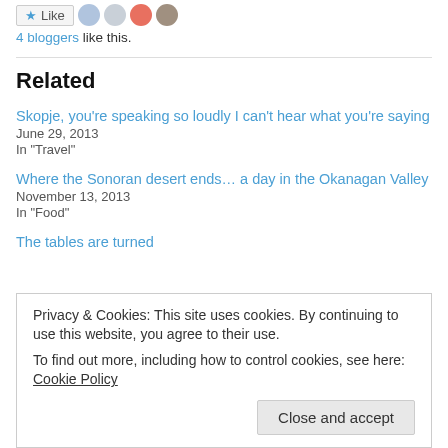4 bloggers like this.
Related
Skopje, you're speaking so loudly I can't hear what you're saying
June 29, 2013
In "Travel"
Where the Sonoran desert ends… a day in the Okanagan Valley
November 13, 2013
In "Food"
The tables are turned
Privacy & Cookies: This site uses cookies. By continuing to use this website, you agree to their use.
To find out more, including how to control cookies, see here: Cookie Policy
Close and accept